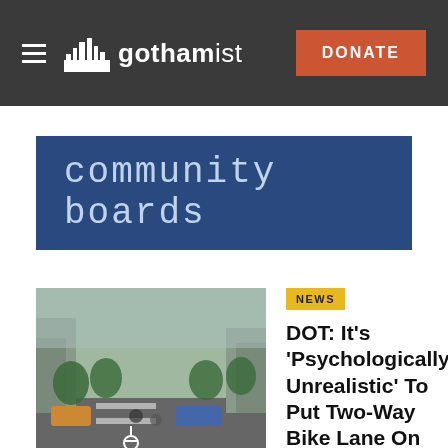gothamist — DONATE
community boards
NEWS
DOT: It's 'Psychologically Unrealistic' To Put Two-Way Bike Lane On Central Park West
Instead of a bidirectional lane on Central Park West, transportation